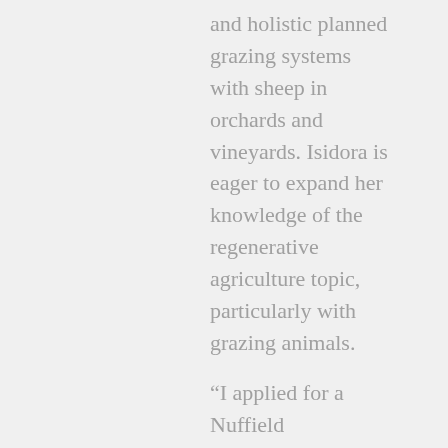and holistic planned grazing systems with sheep in orchards and vineyards. Isidora is eager to expand her knowledge of the regenerative agriculture topic, particularly with grazing animals.
“I applied for a Nuffield Scholarship as I have visited several ranches in other countries and learned different regenerative practices, and I want to expand on this with topics such as climate change, biodiversity and water scarcity,” she says.
“Here in Chile, like many other countries, water scarcity is growing and generating loss of land and soil as well as food productivity. If the land is not managed the right way grazing animals can have a negative impact on the soil and environment, yet if managed correctly they can enhance soil health and